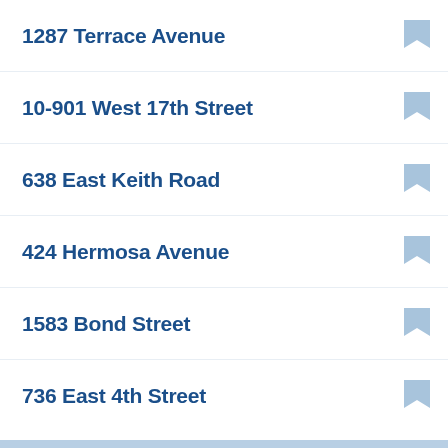1287 Terrace Avenue
10-901 West 17th Street
638 East Keith Road
424 Hermosa Avenue
1583 Bond Street
736 East 4th Street